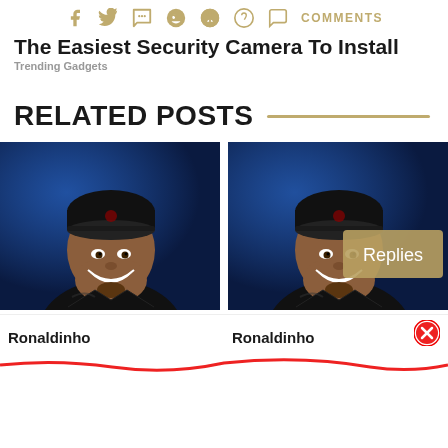f  Twitter  WhatsApp  Reddit  Pinterest  Comments  COMMENTS
The Easiest Security Camera To Install
Trending Gadgets
RELATED POSTS
[Figure (photo): Ronaldinho smiling wearing black beanie and black jacket against blue background]
[Figure (photo): Ronaldinho smiling wearing black beanie and black jacket against blue background, with a gold 'Replies' badge overlay]
Ronaldinho
Ronaldinho